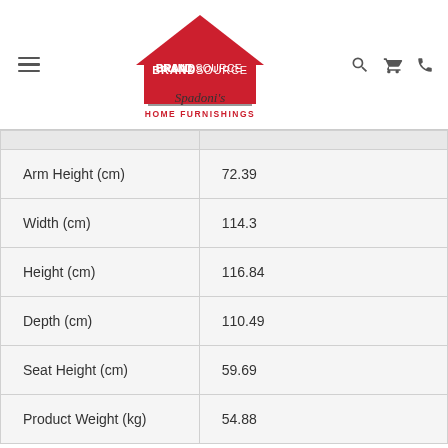[Figure (logo): BrandSource Spadoni's Home Furnishings logo with red house/roof shape, bold BRANDSOURCE text in white on red, cursive Spadoni's below, HOME FURNISHINGS in red caps. Navigation icons: hamburger menu, search, cart, phone.]
| Arm Height (cm) | 72.39 |
| Width (cm) | 114.3 |
| Height (cm) | 116.84 |
| Depth (cm) | 110.49 |
| Seat Height (cm) | 59.69 |
| Product Weight (kg) | 54.88 |